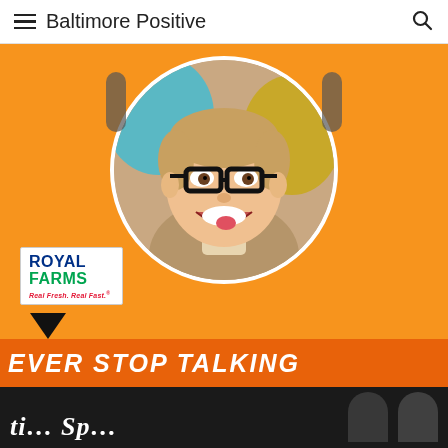Baltimore Positive
[Figure (photo): Orange podcast card with circular portrait of a smiling man with black glasses, and Royal Farms logo at bottom left]
[Figure (photo): Banner photo showing 'EVER STOP TALKING' text on orange/dark background with person visible below]